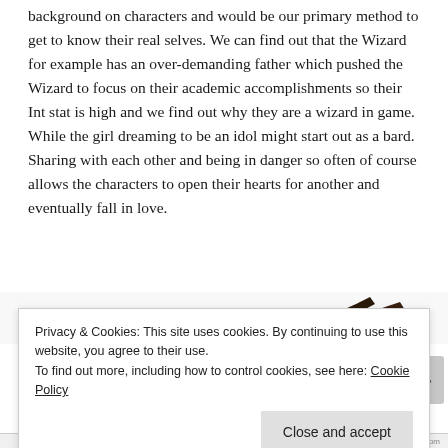background on characters and would be our primary method to get to know their real selves. We can find out that the Wizard for example has an over-demanding father which pushed the Wizard to focus on their academic accomplishments so their Int stat is high and we find out why they are a wizard in game. While the girl dreaming to be an idol might start out as a bard. Sharing with each other and being in danger so often of course allows the characters to open their hearts for another and eventually fall in love.
[Figure (illustration): Partial decorative illustration visible - appears to show part of a figure or character, mostly cropped]
Privacy & Cookies: This site uses cookies. By continuing to use this website, you agree to their use.
To find out more, including how to control cookies, see here: Cookie Policy